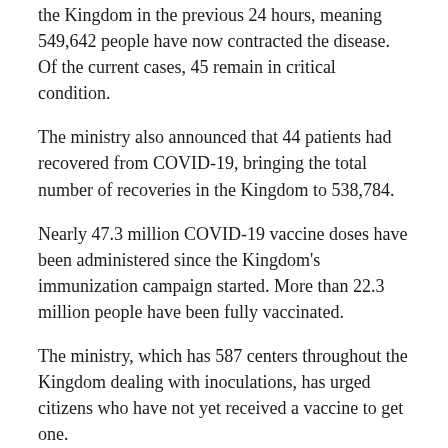the Kingdom in the previous 24 hours, meaning 549,642 people have now contracted the disease. Of the current cases, 45 remain in critical condition.
The ministry also announced that 44 patients had recovered from COVID-19, bringing the total number of recoveries in the Kingdom to 538,784.
Nearly 47.3 million COVID-19 vaccine doses have been administered since the Kingdom's immunization campaign started. More than 22.3 million people have been fully vaccinated.
The ministry, which has 587 centers throughout the Kingdom dealing with inoculations, has urged citizens who have not yet received a vaccine to get one.
It also renewed calls for people to adhere to precautionary measures and register with the Sehhaty app to receive vaccines.